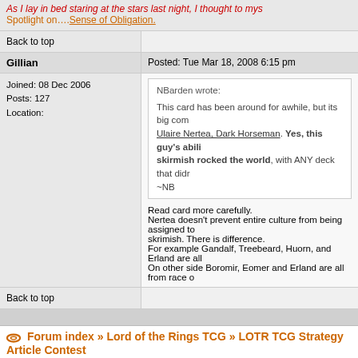As I lay in bed staring at the stars last night, I thought to mys...
Spotlight on.... Sense of Obligation.
Back to top
Gillian
Posted: Tue Mar 18, 2008 6:15 pm
Joined: 08 Dec 2006
Posts: 127
Location:
NBarden wrote:

This card has been around for awhile, but its big com... Ulaire Nertea, Dark Horseman. Yes, this guy's abili... skirmish rocked the world, with ANY deck that didr... ~NB
Read card more carefully.
Nertea doesn't prevent entire culture from being assigned to... skrimish. There is difference.
For example Gandalf, Treebeard, Huorn, and Erland are all...
On other side Boromir, Eomer and Erland are all from race o...
Back to top
Forum index » Lord of the Rings TCG » LOTR TCG Strategy Article Contest
Page 2 of 2 [12 Posts]